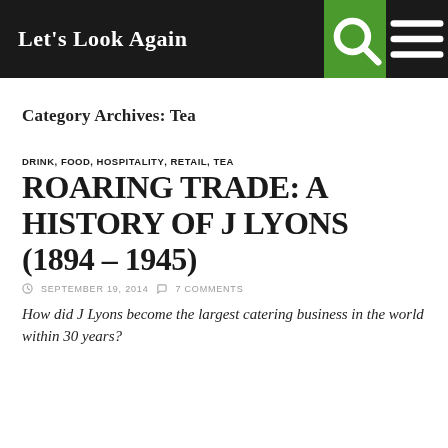Let's Look Again
Category Archives: Tea
DRINK, FOOD, HOSPITALITY, RETAIL, TEA
ROARING TRADE: A HISTORY OF J LYONS (1894 – 1945)
SEPTEMBER 19, 2014   7 COMMENTS
How did J Lyons become the largest catering business in the world within 30 years?